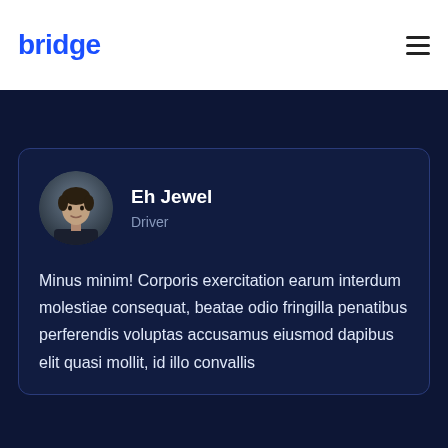bridge
[Figure (other): Profile card for Eh Jewel, Driver, with avatar photo and testimonial text]
Eh Jewel
Driver
Minus minim! Corporis exercitation earum interdum molestiae consequat, beatae odio fringilla penatibus perferendis voluptas accusamus eiusmod dapibus elit quasi mollit, id illo convallis